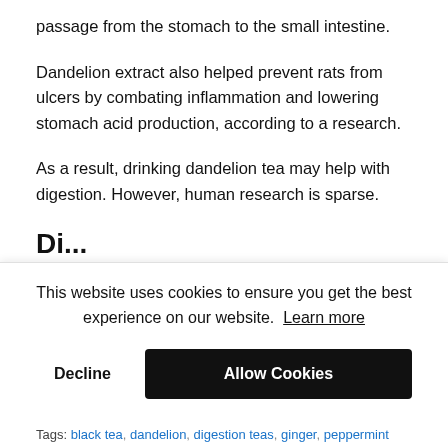passage from the stomach to the small intestine.
Dandelion extract also helped prevent rats from ulcers by combating inflammation and lowering stomach acid production, according to a research.
As a result, drinking dandelion tea may help with digestion. However, human research is sparse.
Di...
This website uses cookies to ensure you get the best experience on our website. Learn more
Decline | Allow Cookies
Tags: black tea, dandelion, digestion teas, ginger, peppermint